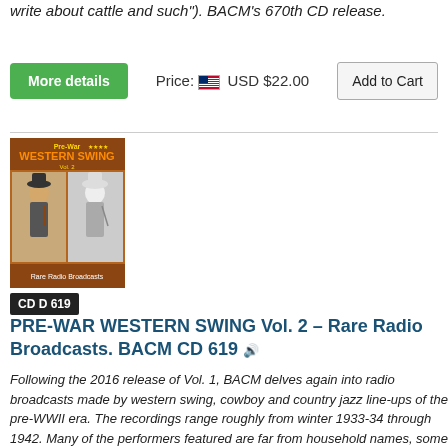write about cattle and such"). BACM's 670th CD release.
More details   Price: USD $22.00   Add to Cart
[Figure (illustration): Album cover for Pre-War Western Swing Vol. 2, Rare Radio Broadcasts, with two musicians]
CD D 619
PRE-WAR WESTERN SWING Vol. 2 – Rare Radio Broadcasts. BACM CD 619
Following the 2016 release of Vol. 1, BACM delves again into radio broadcasts made by western swing, cowboy and country jazz line-ups of the pre-WWII era. The recordings range roughly from winter 1933-34 through 1942. Many of the performers featured are far from household names, some downright obscure. The best known is surely Pee Wee King, captured in telling early performances from the Grand Ole Opry, and there are performances from other notables like Rex